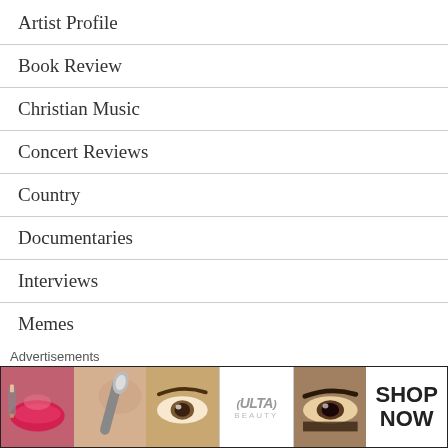Artist Profile
Book Review
Christian Music
Concert Reviews
Country
Documentaries
Interviews
Memes
Movie Review
Music Challenge
My First Time
Advertisements
[Figure (illustration): Ulta Beauty advertisement banner showing makeup imagery with SHOP NOW call to action]